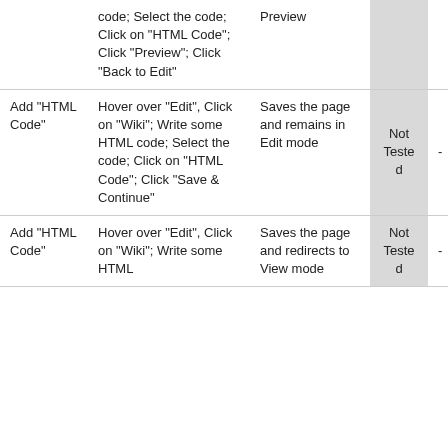|  | code; Select the code; Click on "HTML Code"; Click "Preview"; Click "Back to Edit" | Preview | Not Tested | - |
| Add "HTML Code" | Hover over "Edit", Click on "Wiki"; Write some HTML code; Select the code; Click on "HTML Code"; Click "Save & Continue" | Saves the page and remains in Edit mode | Not Tested | - |
| Add "HTML Code" | Hover over "Edit", Click on "Wiki"; Write some HTML | Saves the page and redirects to View mode | Not Tested | - |